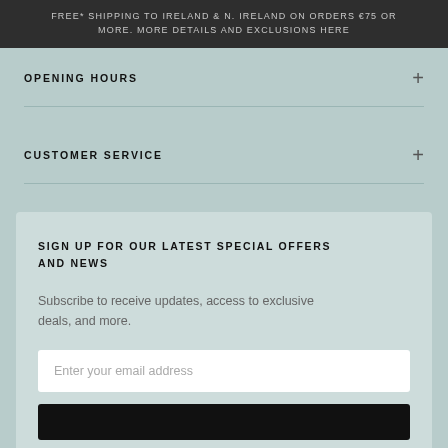FREE* SHIPPING TO IRELAND & N. IRELAND ON ORDERS €75 OR MORE. MORE DETAILS AND EXCLUSIONS HERE
OPENING HOURS
CUSTOMER SERVICE
SIGN UP FOR OUR LATEST SPECIAL OFFERS AND NEWS
Subscribe to receive updates, access to exclusive deals, and more.
Enter your email address